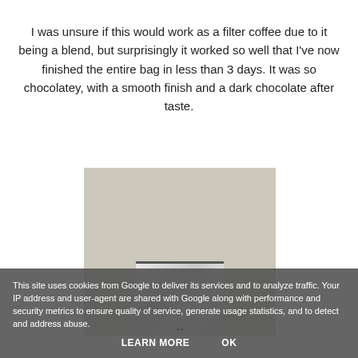I was unsure if this would work as a filter coffee due to it being a blend, but surprisingly it worked so well that I've now finished the entire bag in less than 3 days. It was so chocolatey, with a smooth finish and a dark chocolate after taste.
[Figure (photo): Photo of an empty or nearly empty white/silver coffee bag standing against a textured beige wall]
This site uses cookies from Google to deliver its services and to analyze traffic. Your IP address and user-agent are shared with Google along with performance and security metrics to ensure quality of service, generate usage statistics, and to detect and address abuse.
LEARN MORE   OK